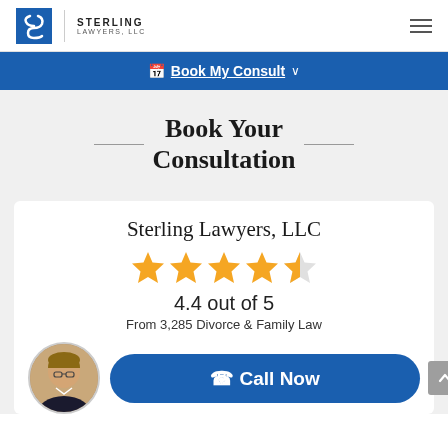[Figure (logo): Sterling Lawyers LLC logo with stylized S icon and firm name]
≡ (hamburger menu icon)
📅 Book My Consult ∨
Book Your Consultation
Sterling Lawyers, LLC
[Figure (other): 4.4 out of 5 star rating display with 4 full gold stars and 1 half gold star]
4.4 out of 5
From 3,285 Divorce & Family Law
[Figure (photo): Circular headshot photo of a woman with glasses in professional attire]
📞 Call Now